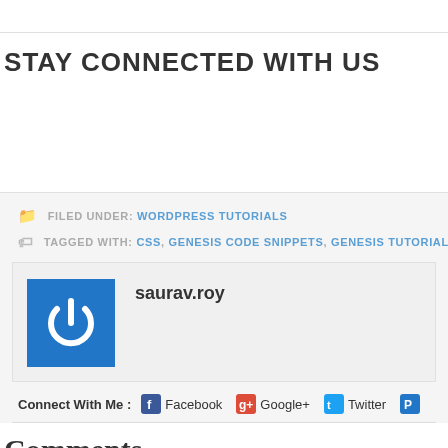STAY CONNECTED WITH US
FILED UNDER: WORDPRESS TUTORIALS
TAGGED WITH: CSS, GENESIS CODE SNIPPETS, GENESIS TUTORIALS, WORDPRE...
saurav.roy
Connect With Me : Facebook Google+ Twitter P...
Comments